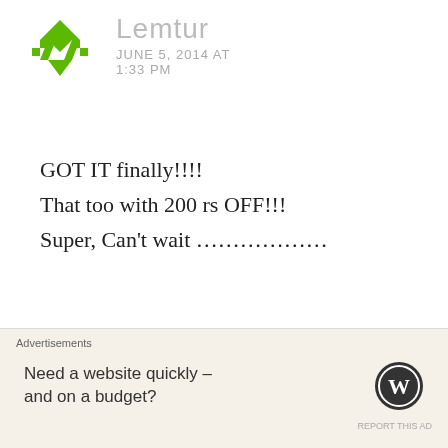[Figure (logo): Green checkmark/angular logo for user Lemtur]
Lemtur
JUNE 5, 2014 AT
1:33 PM
GOT IT finally!!!!
That too with 200 rs OFF!!!
Super, Can't wait …………….
Like
[Figure (photo): Circular avatar photo of Gaurav Shukla, a man in dark clothing]
Gaurav
Shukla
Advertisements
Need a website quickly – and on a budget?